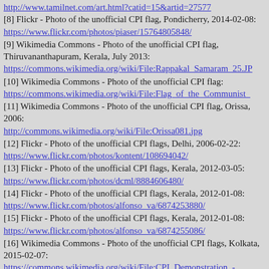[8] Flickr - Photo of the unofficial CPI flag, Pondicherry, 2014-02-08: https://www.flickr.com/photos/piaser/15764805848/
[9] Wikimedia Commons - Photo of the unofficial CPI flag, Thiruvananthapuram, Kerala, July 2013: https://commons.wikimedia.org/wiki/File:Rappakal_Samaram_25.JP
[10] Wikimedia Commons - Photo of the unofficial CPI flag: https://commons.wikimedia.org/wiki/File:Flag_of_the_Communist_
[11] Wikimedia Commons - Photo of the unofficial CPI flag, Orissa, 2006: http://commons.wikimedia.org/wiki/File:Orissa081.jpg
[12] Flickr - Photo of the unofficial CPI flags, Delhi, 2006-02-22: https://www.flickr.com/photos/kontent/108694042/
[13] Flickr - Photo of the unofficial CPI flags, Kerala, 2012-03-05: https://www.flickr.com/photos/dcml/8884606480/
[14] Flickr - Photo of the unofficial CPI flags, Kerala, 2012-01-08: https://www.flickr.com/photos/alfonso_va/6874253880/
[15] Flickr - Photo of the unofficial CPI flags, Kerala, 2012-01-08: https://www.flickr.com/photos/alfonso_va/6874255086/
[16] Wikimedia Commons - Photo of the unofficial CPI flags, Kolkata, 2015-02-07: https://commons.wikimedia.org/wiki/File:CPI_Demonstration_-_Sealdah_-_Kolkata_2015-02-07_2105.JPG
[17] Election Commission of India website - List of political parties and election symbols as of 2001-04-03, pp. 25, 71 (actual pp. 27, 73 of the PDF document):